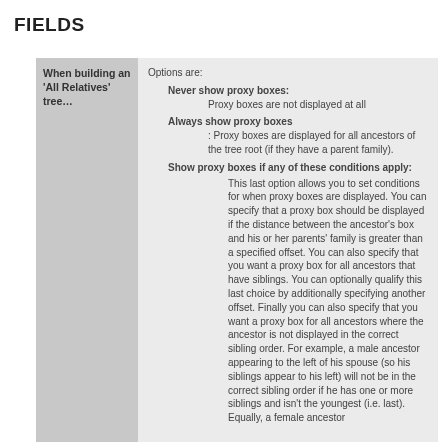FIELDS
| When building an 'All Relatives' tree… | Options are: |
| --- | --- |
| When building an 'All Relatives' tree… | Options are:
Never show proxy boxes: Proxy boxes are not displayed at all
Always show proxy boxes: Proxy boxes are displayed for all ancestors of the tree root (if they have a parent family).
Show proxy boxes if any of these conditions apply: This last option allows you to set conditions for when proxy boxes are displayed. You can specify that a proxy box should be displayed if the distance between the ancestor's box and his or her parents' family is greater than a specified offset. You can also specify that you want a proxy box for all ancestors that have siblings. You can optionally qualify this last choice by additionally specifying another offset. Finally you can also specify that you want a proxy box for all ancestors where the ancestor is not displayed in the correct sibling order. For example, a male ancestor appearing to the left of his spouse (so his siblings appear to his left) will not be in the correct sibling order if he has one or more siblings and isn't the youngest (i.e. last). Equally, a female ancestor |